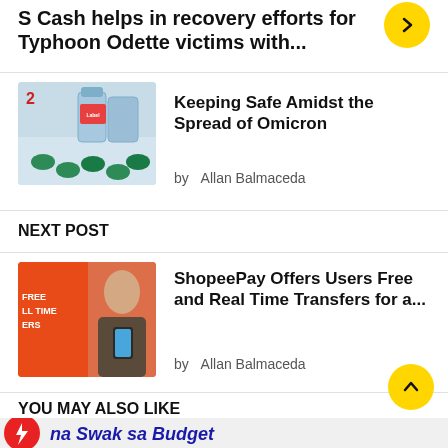S Cash helps in recovery efforts for Typhoon Odette victims with...
[Figure (photo): Pills and medicine bottles on newspaper background]
Keeping Safe Amidst the Spread of Omicron
by Allan Balmaceda
NEXT POST
[Figure (photo): Orange ShopeePay promotional banner with woman using phone]
ShopeePay Offers Users Free and Real Time Transfers for a...
by Allan Balmaceda
YOU MAY ALSO LIKE
[Figure (photo): Red circle logo with lightning bolt and text 'na Swak sa Budget']